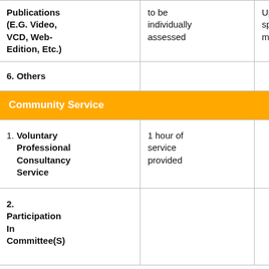| Activity | Criteria | CPD Points | Notes |
| --- | --- | --- | --- |
| Publications (E.G. Video, VCD, Web-Edition, Etc.) | to be individually assessed | Up to a specified maximum | to t
ben
CP
one |
| 6. Others |  |  |  |
| Community Service |  |  |  |
| 1. Voluntary Professional Consultancy Service | 1 hour of service provided | 1 |  |
| 2. Participation In Committee(S) |  | 1 | A m
:P
be |